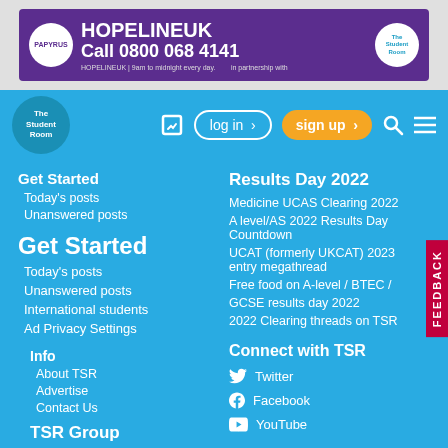[Figure (screenshot): HOPELINE UK banner ad by PAPYRUS. Purple background with text: HOPELINEUK Call 0800 068 4141. HOPELINEUK | 9am to midnight every day. In partnership with The Student Room.]
The Student Room - navigation bar with log in, sign up, search, and menu icons
Get Started
Today's posts
Unanswered posts
Get Started
Today's posts
Unanswered posts
International students
Ad Privacy Settings
Info
About TSR
Advertise
Contact Us
TSR Group
The Uni Guide
Results Day 2022
Medicine UCAS Clearing 2022
A level/AS 2022 Results Day Countdown
UCAT (formerly UKCAT) 2023 entry megathread
Free food on A-level / BTEC /
GCSE results day 2022
2022 Clearing threads on TSR
Connect with TSR
Twitter
Facebook
YouTube